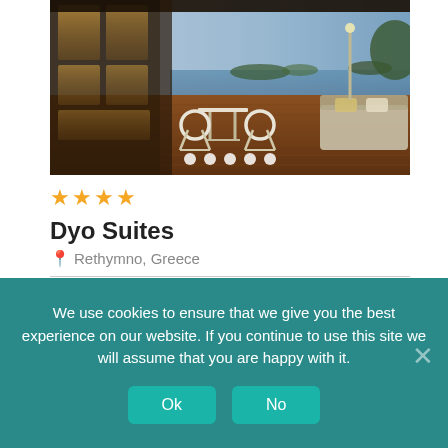[Figure (photo): Hotel terrace/outdoor seating area with wooden deck, white lattice chairs and table, warm ambient lighting on panels, sea view in background at dusk with soft blue sky]
★★★★ (4 stars)
Dyo Suites
Rethymno, Greece
9.2  no review
We use cookies to ensure that we give you the best experience on our website. If you continue to use this site we will assume that you are happy with it.